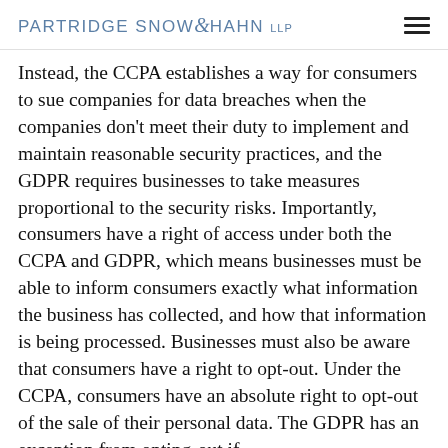PARTRIDGE SNOW & HAHN LLP
Instead, the CCPA establishes a way for consumers to sue companies for data breaches when the companies don't meet their duty to implement and maintain reasonable security practices, and the GDPR requires businesses to take measures proportional to the security risks. Importantly, consumers have a right of access under both the CCPA and GDPR, which means businesses must be able to inform consumers exactly what information the business has collected, and how that information is being processed. Businesses must also be aware that consumers have a right to opt-out. Under the CCPA, consumers have an absolute right to opt-out of the sale of their personal data. The GDPR has an exception from opting-out if